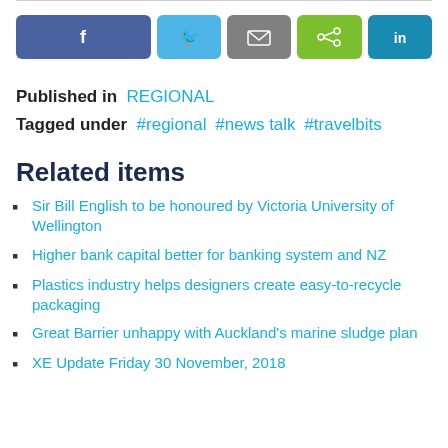[Figure (infographic): Social share buttons: Facebook (blue), Twitter (light blue), Email (gray), Share (green), LinkedIn (teal)]
Published in  REGIONAL
Tagged under  #regional  #news talk  #travelbits
Related items
Sir Bill English to be honoured by Victoria University of Wellington
Higher bank capital better for banking system and NZ
Plastics industry helps designers create easy-to-recycle packaging
Great Barrier unhappy with Auckland's marine sludge plan
XE Update Friday 30 November, 2018